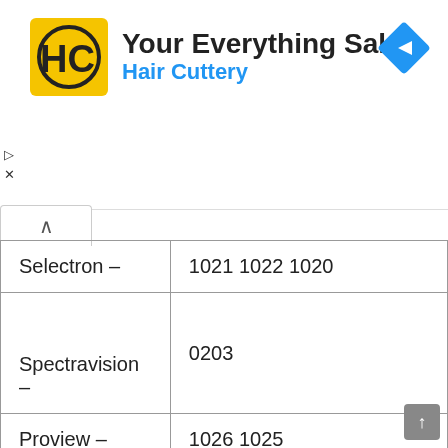[Figure (logo): Hair Cuttery advertisement banner with HC logo, text 'Your Everything Salon / Hair Cuttery', and a navigation arrow icon]
| Selectron – | 1021 1022 1020 |
| Spectravision – | 0203 |
| Proview – | 1026 1025 |
| Monivision – | 0036 |
| Sva – | 0216 |
| Moteva – | 0049 |